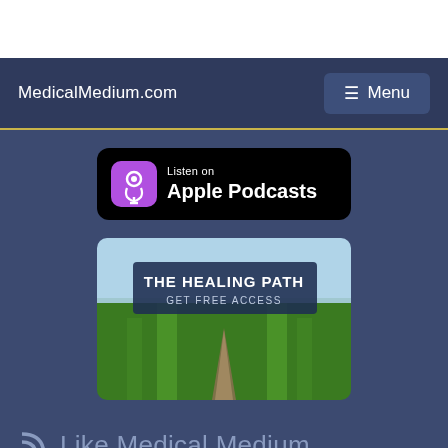MedicalMedium.com
[Figure (screenshot): Apple Podcasts badge: purple podcast icon with 'Listen on Apple Podcasts' in white text on black rounded rectangle background]
[Figure (photo): The Healing Path - Get Free Access banner showing a wooden pathway through tall green grass under a light blue sky with text overlay]
Like Medical Medium